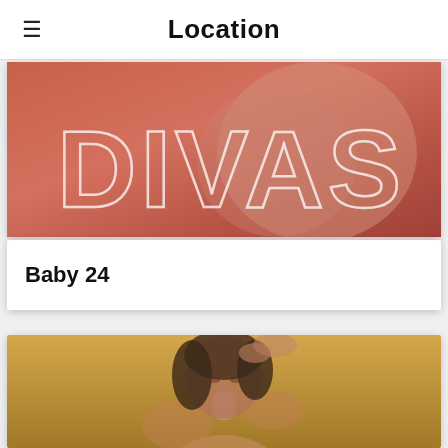Location
[Figure (photo): Photo card with terracotta/salmon background with large outlined text 'DIVAS' overlaid]
Baby 24
[Figure (photo): Photo of a young woman with dark hair against a golden/yellow background, hand on head]